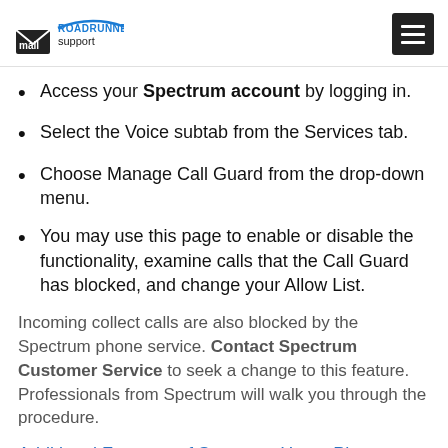Roadrunner mail support
Access your Spectrum account by logging in.
Select the Voice subtab from the Services tab.
Choose Manage Call Guard from the drop-down menu.
You may use this page to enable or disable the functionality, examine calls that the Call Guard has blocked, and change your Allow List.
Incoming collect calls are also blocked by the Spectrum phone service. Contact Spectrum Customer Service to seek a change to this feature. Professionals from Spectrum will walk you through the procedure.
Additional Features of Spectrum Home Phone
As previously stated, the Spectrum phone...